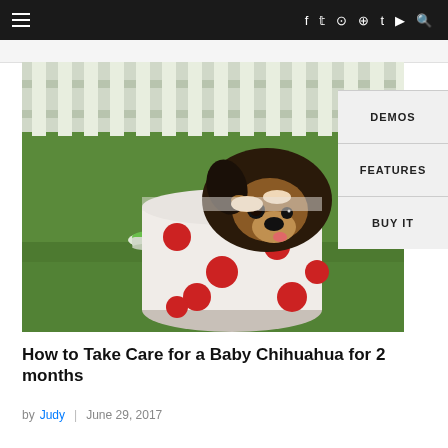≡  f  𝕥  ⊙  ℗  t  ▶  🔍
[Figure (photo): A tiny black and tan Chihuahua puppy sitting inside a white mug with red polka dots, set on green grass with a white picket fence in the background and a small green bowl nearby.]
How to Take Care for a Baby Chihuahua for 2 months
by Judy  |  June 29, 2017